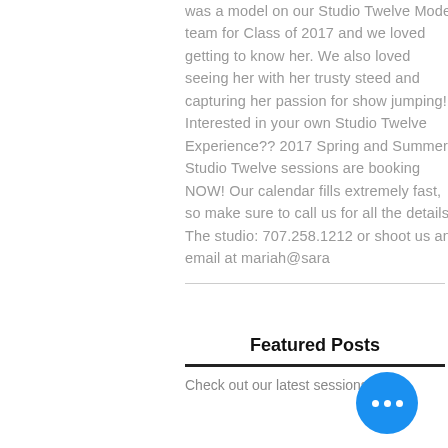was a model on our Studio Twelve Model team for Class of 2017 and we loved getting to know her. We also loved seeing her with her trusty steed and capturing her passion for show jumping! Interested in your own Studio Twelve Experience?? 2017 Spring and Summer Studio Twelve sessions are booking NOW! Our calendar fills extremely fast, so make sure to call us for all the details! The studio: 707.258.1212 or shoot us an email at mariah@sara
Featured Posts
Check out our latest sessions!